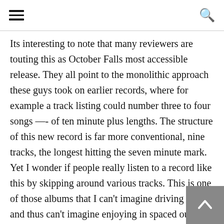[hamburger menu icon] [search icon]
Its interesting to note that many reviewers are touting this as October Falls most accessible release. They all point to the monolithic approach these guys took on earlier records, where for example a track listing could number three to four songs —- of ten minute plus lengths. The structure of this new record is far more conventional, nine tracks, the longest hitting the seven minute mark. Yet I wonder if people really listen to a record like this by skipping around various tracks. This is one of those albums that I can't imagine driving to… and thus can't imagine enjoying in spaced out chunks as on the random play of an iPod. Its far too hypnotic and enclosed in its own specific world of sound to be digested in that manner, and so it makes me think that all this talk of the album being accessible is a side-effect of what amounts to a cosmetic decision. In any